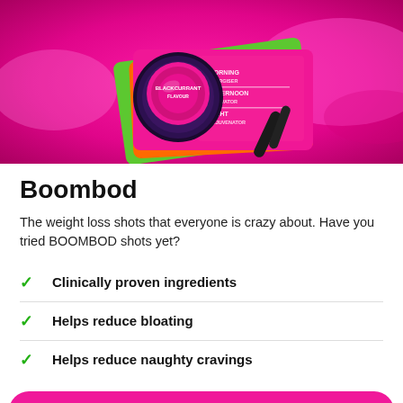[Figure (photo): Product photo of Boombod weight loss shots on a bright pink/magenta splash background. Shows blackcurrant flavour product with morning, afternoon, and night variants. Colorful green, orange, and pink packaging visible.]
Boombod
The weight loss shots that everyone is crazy about. Have you tried BOOMBOD shots yet?
Clinically proven ingredients
Helps reduce bloating
Helps reduce naughty cravings
Shop below to Boombod